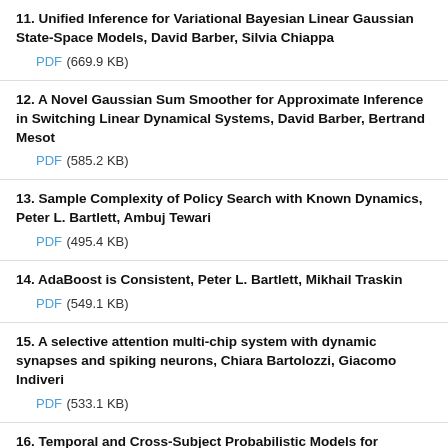11. Unified Inference for Variational Bayesian Linear Gaussian State-Space Models, David Barber, Silvia Chiappa
PDF (669.9 KB)
12. A Novel Gaussian Sum Smoother for Approximate Inference in Switching Linear Dynamical Systems, David Barber, Bertrand Mesot
PDF (585.2 KB)
13. Sample Complexity of Policy Search with Known Dynamics, Peter L. Bartlett, Ambuj Tewari
PDF (495.4 KB)
14. AdaBoost is Consistent, Peter L. Bartlett, Mikhail Traskin
PDF (549.1 KB)
15. A selective attention multi-chip system with dynamic synapses and spiking neurons, Chiara Bartolozzi, Giacomo Indiveri
PDF (533.1 KB)
16. Temporal and Cross-Subject Probabilistic Models for